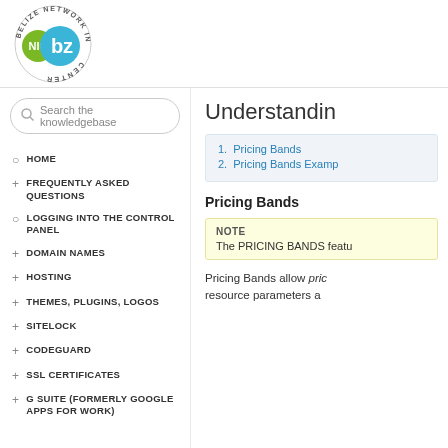[Figure (logo): NIC .bz Belize Network Information Center logo — green circle with NIC text, blue circle with bz text, surrounding ring text]
[Figure (other): Search box with magnifying glass icon and placeholder text 'Search the knowledgebase']
HOME
FREQUENTLY ASKED QUESTIONS
LOGGING INTO THE CONTROL PANEL
DOMAIN NAMES
HOSTING
THEMES, PLUGINS, LOGOS
SITELOCK
CODEGUARD
SSL CERTIFICATES
G SUITE (FORMERLY GOOGLE APPS FOR WORK)
Understanding
1. Pricing Bands
2. Pricing Bands Examples
Pricing Bands
NOTE
The PRICING BANDS featu
Pricing Bands allow pric resource parameters a